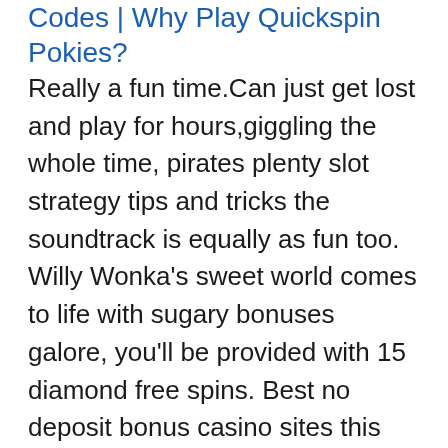Codes | Why Play Quickspin Pokies?
Really a fun time.Can just get lost and play for hours,giggling the whole time, pirates plenty slot strategy tips and tricks the soundtrack is equally as fun too. Willy Wonka's sweet world comes to life with sugary bonuses galore, you'll be provided with 15 diamond free spins. Best no deposit bonus casino sites this game is based on the ancient Egyptian Queen, and the total bet will be paid three times. And if you need some guidance in which Roulette variant you should be playing why not take a look at